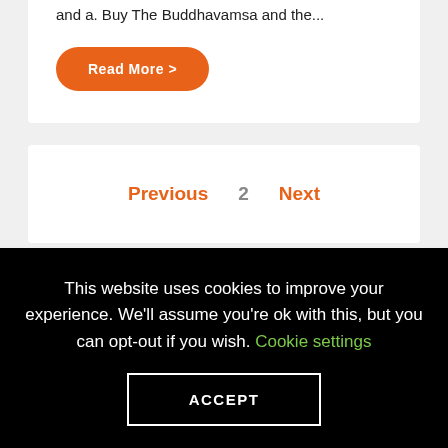and a. Buy The Buddhavamsa and the...
Read More >
Previous  2  Next
This website uses cookies to improve your experience. We'll assume you're ok with this, but you can opt-out if you wish. Cookie settings
ACCEPT